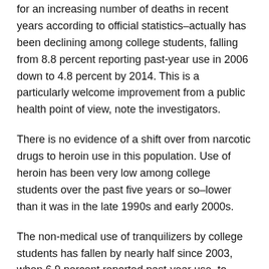for an increasing number of deaths in recent years according to official statistics–actually has been declining among college students, falling from 8.8 percent reporting past-year use in 2006 down to 4.8 percent by 2014. This is a particularly welcome improvement from a public health point of view, note the investigators.
There is no evidence of a shift over from narcotic drugs to heroin use in this population. Use of heroin has been very low among college students over the past five years or so–lower than it was in the late 1990s and early 2000s.
The non-medical use of tranquilizers by college students has fallen by nearly half since 2003, when 6.9 percent reported past-year use, to 2014, when 3.5 percent did.
The use of LSD and other hallucinogenic drugs, once popular in this age group, remains at low levels of use on campus,